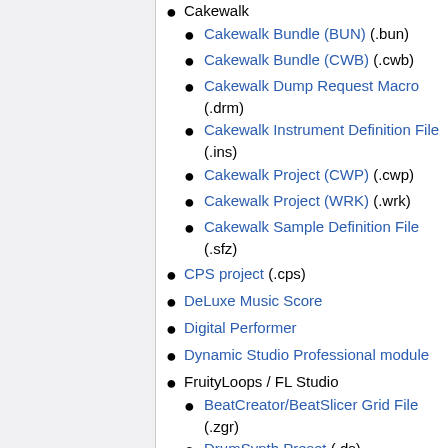Cakewalk
Cakewalk Bundle (BUN) (.bun)
Cakewalk Bundle (CWB) (.cwb)
Cakewalk Dump Request Macro (.drm)
Cakewalk Instrument Definition File (.ins)
Cakewalk Project (CWP) (.cwp)
Cakewalk Project (WRK) (.wrk)
Cakewalk Sample Definition File (.sfz)
CPS project (.cps)
DeLuxe Music Score
Digital Performer
Dynamic Studio Professional module
FruityLoops / FL Studio
BeatCreator/BeatSlicer Grid File (.zgr)
DrumSynth Preset (.ds)
FL Studio Score File (.fsc)
FL Studio State File (.fst)
Humanize Preset (.fnr)